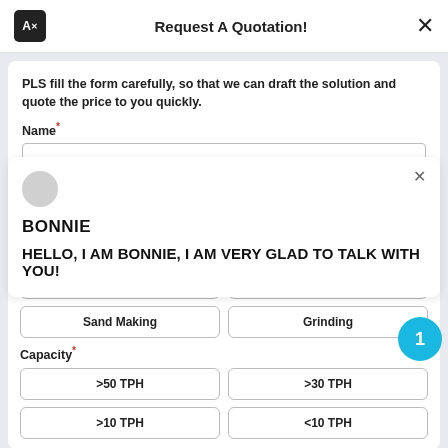Request A Quotation!
PLS fill the form carefully, so that we can draft the solution and quote the price to you quickly.
Name*
[Figure (screenshot): Chatbot popup with avatar circle, name BONNIE, and message: HELLO, I AM BONNIE, I AM VERY GLAD TO TALK WITH YOU!]
Crushing | Mobile Crush
Sand Making | Grinding
Capacity*
>50 TPH | >30 TPH
>10 TPH | <10 TPH